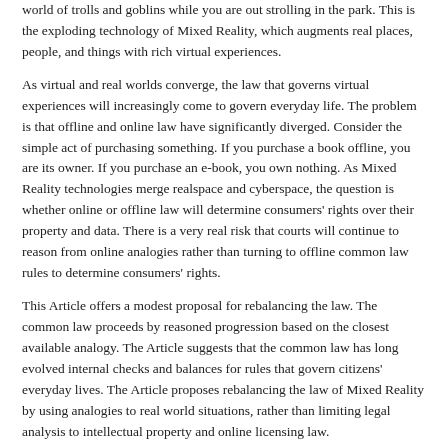world of trolls and goblins while you are out strolling in the park. This is the exploding technology of Mixed Reality, which augments real places, people, and things with rich virtual experiences.
As virtual and real worlds converge, the law that governs virtual experiences will increasingly come to govern everyday life. The problem is that offline and online law have significantly diverged. Consider the simple act of purchasing something. If you purchase a book offline, you are its owner. If you purchase an e-book, you own nothing. As Mixed Reality technologies merge realspace and cyberspace, the question is whether online or offline law will determine consumers' rights over their property and data. There is a very real risk that courts will continue to reason from online analogies rather than turning to offline common law rules to determine consumers' rights.
This Article offers a modest proposal for rebalancing the law. The common law proceeds by reasoned progression based on the closest available analogy. The Article suggests that the common law has long evolved internal checks and balances for rules that govern citizens' everyday lives. The Article proposes rebalancing the law of Mixed Reality by using analogies to real world situations, rather than limiting legal analysis to intellectual property and online licensing law.